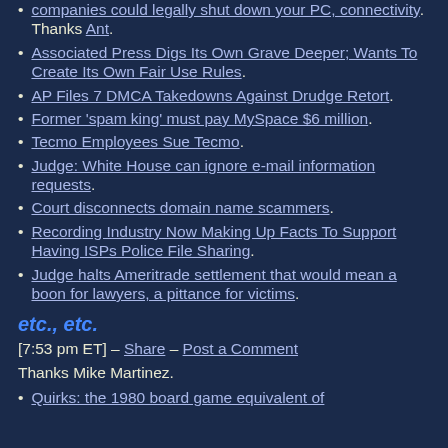companies could legally shut down your PC, connectivity. Thanks Ant.
Associated Press Digs Its Own Grave Deeper; Wants To Create Its Own Fair Use Rules.
AP Files 7 DMCA Takedowns Against Drudge Retort.
Former 'spam king' must pay MySpace $6 million.
Tecmo Employees Sue Tecmo.
Judge: White House can ignore e-mail information requests.
Court disconnects domain name scammers.
Recording Industry Now Making Up Facts To Support Having ISPs Police File Sharing.
Judge halts Ameritrade settlement that would mean a boon for lawyers, a pittance for victims.
etc., etc.
[7:53 pm ET] – Share – Post a Comment
Thanks Mike Martinez.
Quirks: the 1980 board game equivalent of